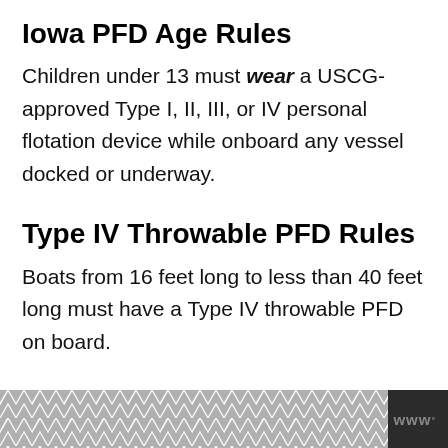Iowa PFD Age Rules
Children under 13 must wear a USCG-approved Type I, II, III, or IV personal flotation device while onboard any vessel docked or underway.
Type IV Throwable PFD Rules
Boats from 16 feet long to less than 40 feet long must have a Type IV throwable PFD on board.
[Figure (other): Footer bar with dark background, geometric hexagon/chevron pattern in grey on the left portion, and a logo mark 'w°' on the right side.]